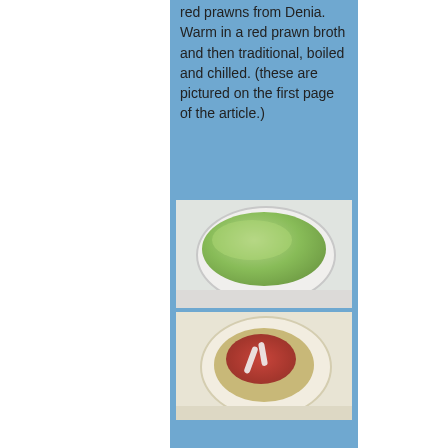red prawns from Denia. Warm in a red prawn broth and then traditional, boiled and chilled. (these are pictured on the first page of the article.)
[Figure (photo): A white bowl containing green puréed food (likely guacamole or pea purée), photographed from above on a white surface.]
[Figure (photo): A white plate with a rice-based dish topped with red pieces (possibly red prawn or tomato) and white garnish, photographed from above.]